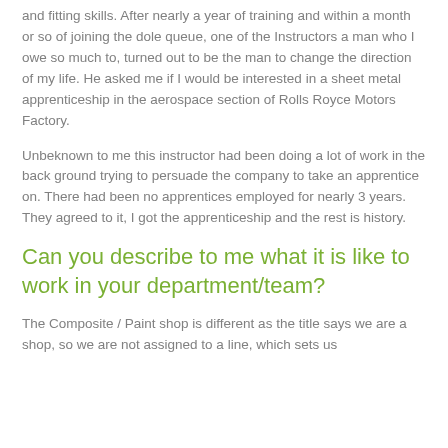and fitting skills. After nearly a year of training and within a month or so of joining the dole queue, one of the Instructors a man who I owe so much to, turned out to be the man to change the direction of my life. He asked me if I would be interested in a sheet metal apprenticeship in the aerospace section of Rolls Royce Motors Factory.
Unbeknown to me this instructor had been doing a lot of work in the back ground trying to persuade the company to take an apprentice on. There had been no apprentices employed for nearly 3 years. They agreed to it, I got the apprenticeship and the rest is history.
Can you describe to me what it is like to work in your department/team?
The Composite / Paint shop is different as the title says we are a shop, so we are not assigned to a line, which sets us